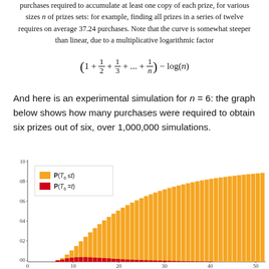purchases required to accumulate at least one copy of each prize, for various sizes n of prizes sets: for example, finding all prizes in a series of twelve requires on average 37.24 purchases. Note that the curve is somewhat steeper than linear, due to a multiplicative logarithmic factor
And here is an experimental simulation for n = 6: the graph below shows how many purchases were required to obtain six prizes out of six, over 1,000,000 simulations.
[Figure (bar-chart): Histogram showing P(T_6 <= t) in orange and P(T_6 = t) in red, x-axis from 0 to 50, y-axis from 0.00 to 1.0]